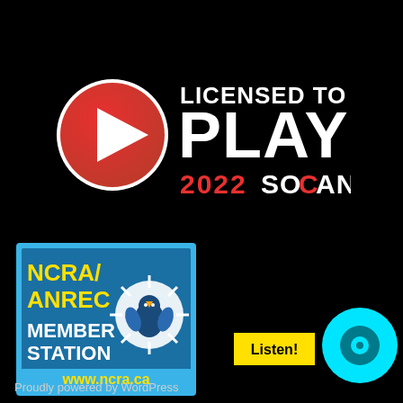[Figure (logo): SOCAN Licensed to Play 2022 logo with red play button circle and white/red text]
[Figure (logo): NCRA/ANREC Member Station badge with blue border, yellow text, and radio mascot graphic. www.ncra.ca]
[Figure (other): Yellow 'Listen!' button]
[Figure (other): Cyan circular radio/play icon]
Proudly powered by WordPress